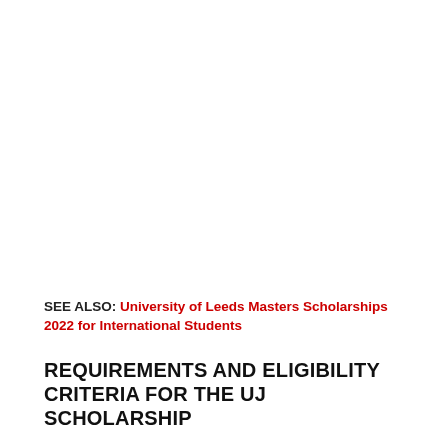SEE ALSO: University of Leeds Masters Scholarships 2022 for International Students
REQUIREMENTS AND ELIGIBILITY CRITERIA FOR THE UJ SCHOLARSHIP